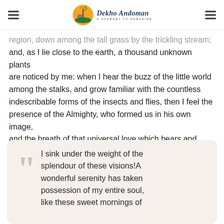Dekho Andaman — A Journey to Paradise
region, down among the tall grass by the trickling stream; and, as I lie close to the earth, a thousand unknown plants are noticed by me: when I hear the buzz of the little world among the stalks, and grow familiar with the countless indescribable forms of the insects and flies, then I feel the presence of the Almighty, who formed us in his own image, and the breath of that universal love which bears and sustains us, as it floats around us in an eternity of blist.
I sink under the weight of the splendour of these visions!A wonderful serenity has taken possession of my entire soul, like these sweet mornings of